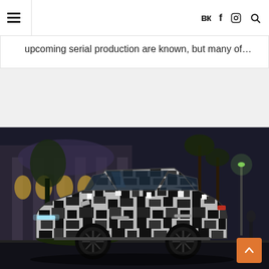Navigation header with hamburger menu and social icons (VK, Facebook, Instagram, Search)
upcoming serial production are known, but many of...
[Figure (photo): A camouflaged SUV prototype photographed at night in an urban setting, with black and white geometric camouflage wrap covering the entire body. The car appears to be a luxury electric SUV in testing phase, photographed in front of an illuminated building with palm trees.]